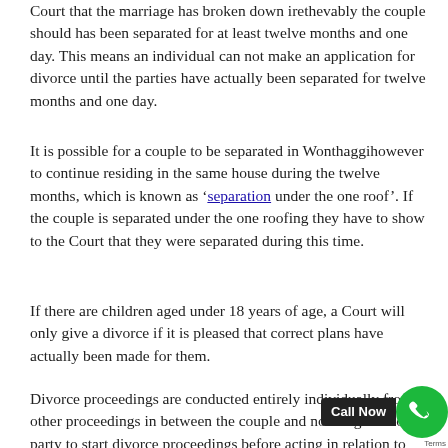Court that the marriage has broken down irethevably the couple should has been separated for at least twelve months and one day. This means an individual can not make an application for divorce until the parties have actually been separated for twelve months and one day.
It is possible for a couple to be separated in Wonthaggihowever to continue residing in the same house during the twelve months, which is known as 'separation under the one roof'. If the couple is separated under the one roofing they have to show to the Court that they were separated during this time.
If there are children aged under 18 years of age, a Court will only give a divorce if it is pleased that correct plans have actually been made for them.
Divorce proceedings are conducted entirely individually from other proceedings in between the couple and no obligation on a party to start divorce proceedings before acting in relation to any other element of the
[Figure (other): Call Now button overlay with green phone icon circle and dark background label]